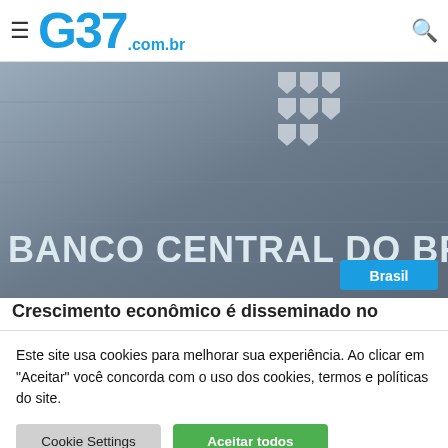G37.com.br
[Figure (photo): Photo of the exterior wall of Banco Central do Brasil building, showing the institution name in large raised letters and the BCB logo (stylized currency symbols) above. A blue badge with 'Brasil' is overlaid in the bottom right corner.]
Crescimento econômico é disseminado no
Este site usa cookies para melhorar sua experiência. Ao clicar em "Aceitar" você concorda com o uso dos cookies, termos e políticas do site.
Cookie Settings
Aceitar todos